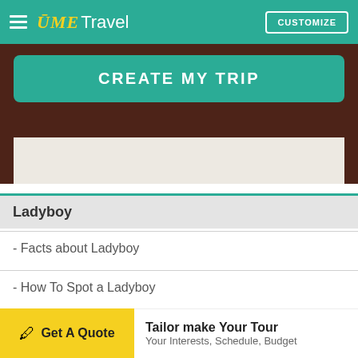UME Travel — CUSTOMIZE
[Figure (screenshot): Hero image area with dark brown background, a teal 'CREATE MY TRIP' button, and a light beige lower section]
Ladyboy
- Facts about Ladyboy
- How To Spot a Ladyboy
Expand ∨
Get A Quote — Tailor make Your Tour — Your Interests, Schedule, Budget